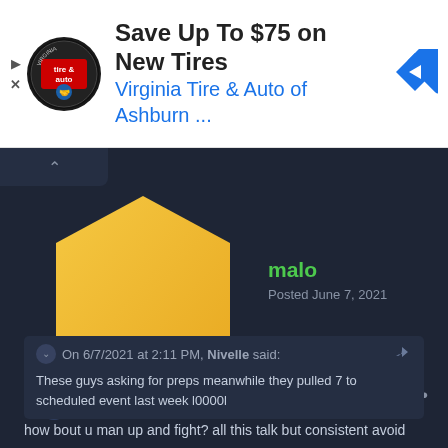[Figure (screenshot): Advertisement banner for Virginia Tire & Auto of Ashburn showing logo, text 'Save Up To $75 on New Tires' and 'Virginia Tire & Auto of Ashburn ...' with a blue navigation arrow icon on the right]
malo
Posted June 7, 2021
On 6/7/2021 at 2:11 PM, Nivelle said:
These guys asking for preps meanwhile they pulled 7 to scheduled event last week l0000l
how bout u man up and fight? all this talk but consistent avoid